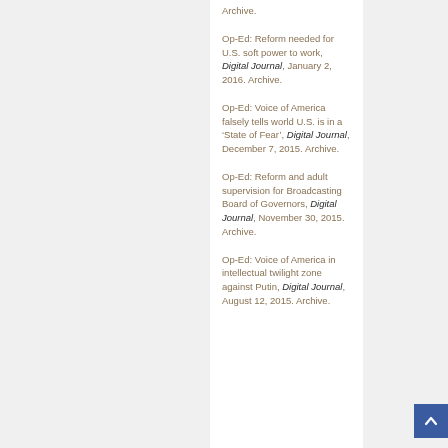Archive.
Op-Ed: Reform needed for U.S. soft power to work, Digital Journal, January 2, 2016. Archive.
Op-Ed: Voice of America falsely tells world U.S. is in a ‘State of Fear’, Digital Journal, December 7, 2015. Archive.
Op-Ed: Reform and adult supervision for Broadcasting Board of Governors, Digital Journal, November 30, 2015. Archive.
Op-Ed: Voice of America in intellectual twilight zone against Putin, Digital Journal, August 12, 2015. Archive.